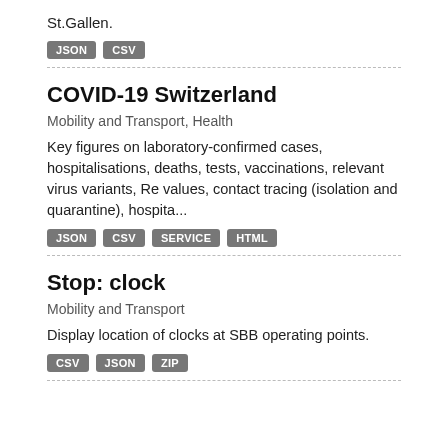St.Gallen.
JSON  CSV
COVID-19 Switzerland
Mobility and Transport, Health
Key figures on laboratory-confirmed cases, hospitalisations, deaths, tests, vaccinations, relevant virus variants, Re values, contact tracing (isolation and quarantine), hospita...
JSON  CSV  SERVICE  HTML
Stop: clock
Mobility and Transport
Display location of clocks at SBB operating points.
CSV  JSON  ZIP